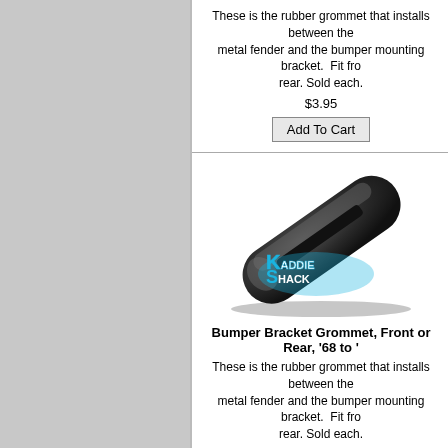These is the rubber grommet that installs between the metal fender and the bumper mounting bracket. Fit fro rear. Sold each.
$3.95
Add To Cart
[Figure (photo): Black rubber bumper bracket grommet, elongated shape with slot, Kaddie Shack watermark]
Bumper Bracket Grommet, Front or Rear, '68 to '
These is the rubber grommet that installs between the metal fender and the bumper mounting bracket. Fit fro rear. Sold each.
$3.95
Add To Cart
[Figure (photo): Black rubber bumper bracket grommet, partial view at bottom of page]